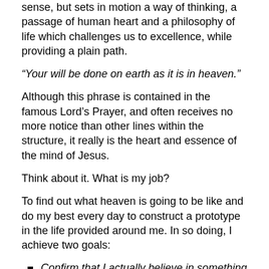sense, but sets in motion a way of thinking, a passage of human heart and a philosophy of life which challenges us to excellence, while providing a plain path.
“Your will be done on earth as it is in heaven.”
Although this phrase is contained in the famous Lord’s Prayer, and often receives no more notice than other lines within the structure, it really is the heart and essence of the mind of Jesus.
Think about it. What is my job?
To find out what heaven is going to be like and do my best every day to construct a prototype in the life provided around me. In so doing, I achieve two goals:
Confirm that I actually believe in something instead of mouthing words.